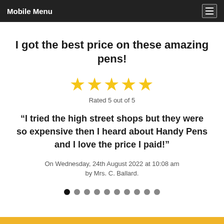Mobile Menu
I got the best price on these amazing pens!
[Figure (other): Five gold star rating icons]
Rated 5 out of 5
“I tried the high street shops but they were so expensive then I heard about Handy Pens and I love the price I paid!”
On Wednesday, 24th August 2022 at 10:08 am
by Mrs. C. Ballard.